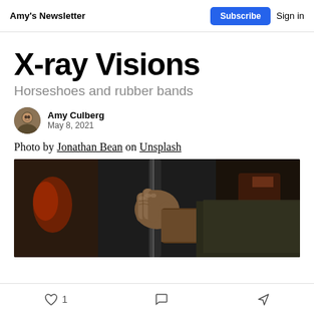Amy's Newsletter | Subscribe | Sign in
X-ray Visions
Horseshoes and rubber bands
Amy Culberg
May 8, 2021
Photo by Jonathan Bean on Unsplash
[Figure (photo): Close-up dark photo of a weathered hand gripping a metal rod or bar, wearing work clothes, dark industrial background]
1 [like] [comment] [share]